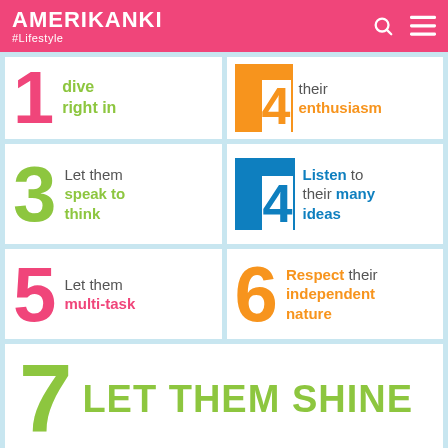AMERIKANKI #Lifestyle
[Figure (infographic): Numbered list infographic with 7 tips. Item 1: dive right in (pink). Item 2: their enthusiasm (orange). Item 3: Let them speak to think (green). Item 4: Listen to their many ideas (blue). Item 5: Let them multi-task (pink). Item 6: Respect their independent nature (orange). Item 7: LET THEM SHINE (green).]